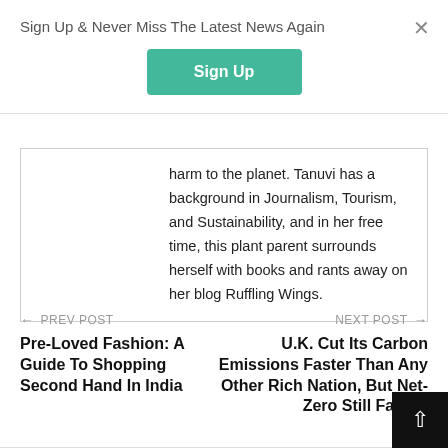Sign Up & Never Miss The Latest News Again
Sign Up
harm to the planet. Tanuvi has a background in Journalism, Tourism, and Sustainability, and in her free time, this plant parent surrounds herself with books and rants away on her blog Ruffling Wings.
← PREV POST
Pre-Loved Fashion: A Guide To Shopping Second Hand In India
NEXT POST →
U.K. Cut Its Carbon Emissions Faster Than Any Other Rich Nation, But Net-Zero Still Far Off